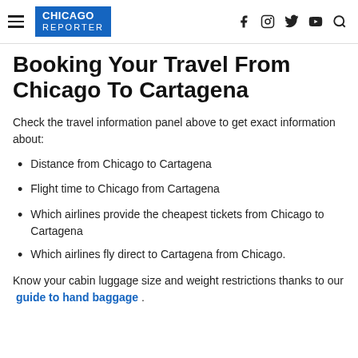CHICAGO REPORTER
Booking Your Travel From Chicago To Cartagena
Check the travel information panel above to get exact information about:
Distance from Chicago to Cartagena
Flight time to Chicago from Cartagena
Which airlines provide the cheapest tickets from Chicago to Cartagena
Which airlines fly direct to Cartagena from Chicago.
Know your cabin luggage size and weight restrictions thanks to our guide to hand baggage .